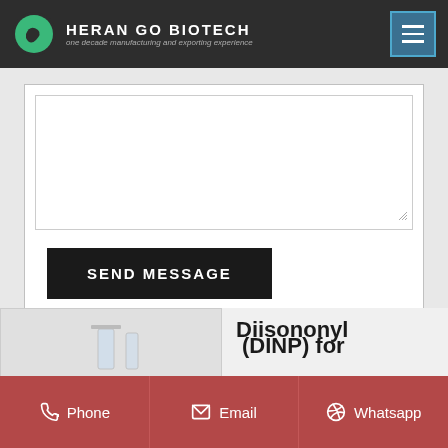HERAN GO BIOTECH — one decade manufacturing and exporting experience
[Figure (screenshot): Website form area with a large message textarea and a black SEND MESSAGE button]
Diisononyl
(DINP) for
Phone | Email | Whatsapp